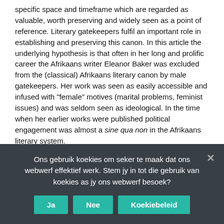specific space and timeframe which are regarded as valuable, worth preserving and widely seen as a point of reference. Literary gatekeepers fulfil an important role in establishing and preserving this canon. In this article the underlying hypothesis is that often in her long and prolific career the Afrikaans writer Eleanor Baker was excluded from the (classical) Afrikaans literary canon by male gatekeepers. Her work was seen as easily accessible and infused with "female" motives (marital problems, feminist issues) and was seldom seen as ideological. In the time when her earlier works were published political engagement was almost a sine qua non in the Afrikaans literary system.

While many prose texts written by women appeared in Afrikaans before the 1980s, a considerable number of these texts were marginalised and may be described as neglected works by
Ons gebruik koekies om seker te maak dat ons webwerf effektief werk. Stem jy in tot die gebruik van koekies as jy ons webwerf besoek?